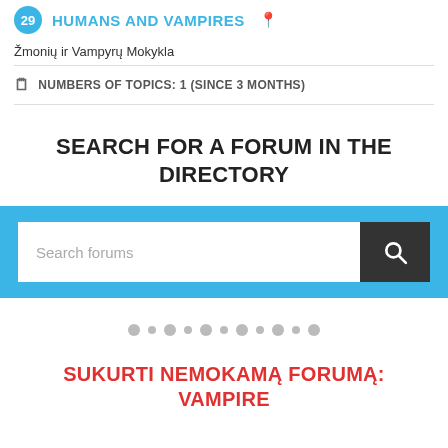29 HUMANS AND VAMPIRES
Žmonių ir Vampyrų Mokykla
NUMBERS OF TOPICS: 1 (SINCE 3 MONTHS)
SEARCH FOR A FORUM IN THE DIRECTORY
[Figure (screenshot): Search bar with placeholder text 'Search forums' and a dark search button with magnifying glass icon]
[Figure (infographic): Row of pagination dots, alternating larger and smaller grey circles]
SUKURTI NEMOKAMĄ FORUMĄ: VAMPIRE